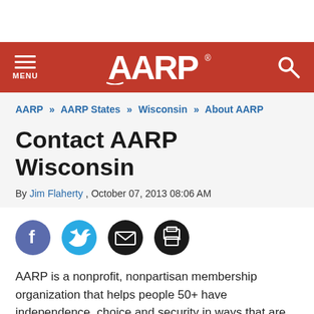AARP
AARP » AARP States » Wisconsin » About AARP
Contact AARP Wisconsin
By Jim Flaherty , October 07, 2013 08:06 AM
[Figure (infographic): Social share icons: Facebook (purple circle with f), Twitter (blue circle with bird), Email (black circle with envelope), Print (black circle with printer)]
AARP is a nonprofit, nonpartisan membership organization that helps people 50+ have independence, choice and security in ways that are beneficial to them, their families and communities.